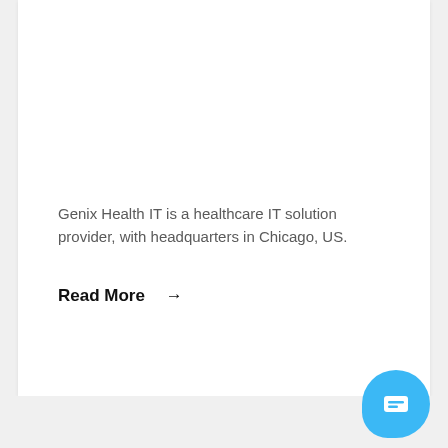Genix Health IT is a healthcare IT solution provider, with headquarters in Chicago, US.
Read More →
[Figure (illustration): Chat/message button icon — a rounded square speech bubble icon in white on a blue rounded background, positioned in the bottom-right corner.]